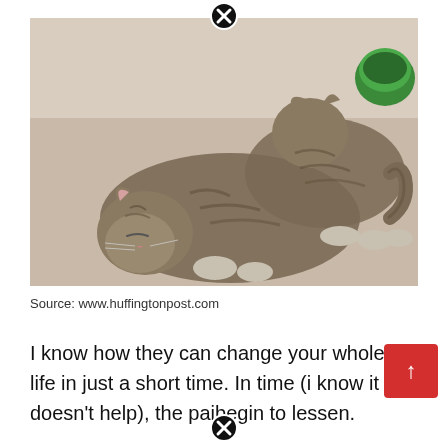[Figure (photo): Two tabby kittens curled up and sleeping together on a beige carpet. A green bowl is visible in the upper right corner.]
Source: www.huffingtonpost.com
I know how they can change your whole life in just a short time. In time (i know it doesn't help), the pain begin to lessen.